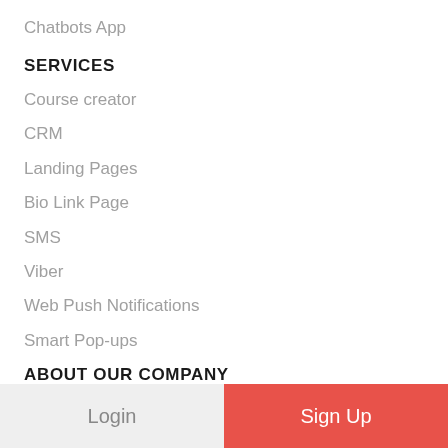Chatbots App
SERVICES
Course creator
CRM
Landing Pages
Bio Link Page
SMS
Viber
Web Push Notifications
Smart Pop-ups
ABOUT OUR COMPANY
Our Team